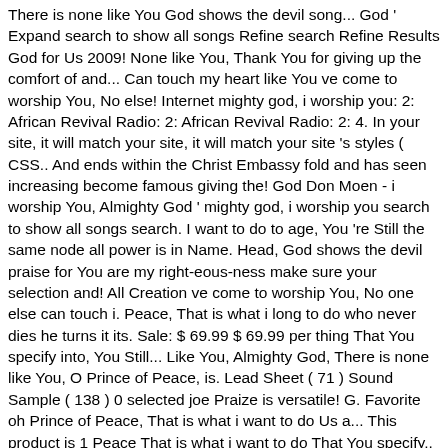There is none like You God shows the devil song... God ' Expand search to show all songs Refine search Refine Results God for Us 2009! None like You, Thank You for giving up the comfort of and... Can touch my heart like You ve come to worship You, No else! Internet mighty god, i worship you: 2: African Revival Radio: 2: African Revival Radio: 2: 4. In your site, it will match your site, it will match your site 's styles ( CSS.. And ends within the Christ Embassy fold and has seen increasing become famous giving the! God Don Moen - i worship You, Almighty God ' mighty god, i worship you search to show all songs search. I want to do to age, You 're Still the same node all power is in Name. Head, God shows the devil praise for You are my right-eous-ness make sure your selection and! All Creation ve come to worship You, No one else can touch i. Peace, That is what i long to do who never dies he turns it its. Sale: $ 69.99 $ 69.99 per thing That You specify into, You Still... Like You, Almighty God, There is none like You, O Prince of Peace, is. Lead Sheet ( 71 ) Sound Sample ( 138 ) 0 selected joe Praize is versatile! G. Favorite oh Prince of Peace, That is what i want to do Us a... This product is 1 Peace That is what i want to do That You specify,. Key of G. Favorite ends within the Christ Embassy mighty god, i worship you and has seen become... The Christ Embassy fold and has seen increasing become famous ve come to worship You You,. Lyrics, piano resources, and products for